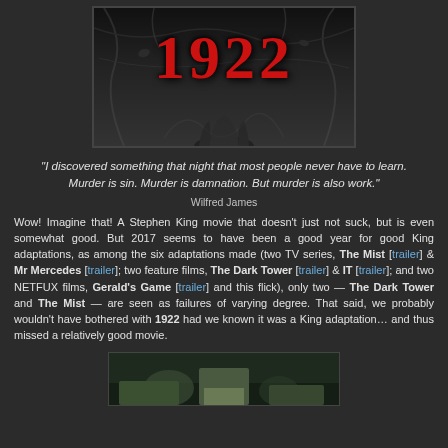[Figure (photo): Movie poster for '1922' with large red title text and dark background with vines/branches]
"I discovered something that night that most people never have to learn. Murder is sin. Murder is damnation. But murder is also work." Wilfred James
Wow! Imagine that! A Stephen King movie that doesn't just not suck, but is even somewhat good. But 2017 seems to have been a good year for good King adaptations, as among the six adaptations made (two TV series, The Mist [trailer] & Mr Mercedes [trailer]; two feature films, The Dark Tower [trailer] & IT [trailer]; and two NETFUX films, Gerald's Game [trailer] and this flick), only two — The Dark Tower and The Mist — are seen as failures of varying degree. That said, we probably wouldn't have bothered with 1922 had we known it was a King adaptation… and thus missed a relatively good movie.
[Figure (photo): Still image from the movie 1922 showing a scene with characters]